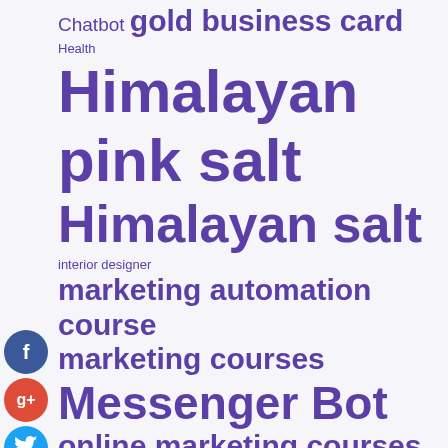[Figure (infographic): Tag cloud with various terms in different sizes and weights, all in purple/violet color, on a light background. Social media icons (Facebook, Google+, Twitter, Add) on the left side.]